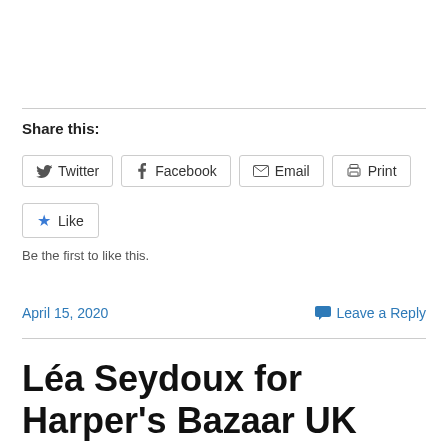Share this:
Twitter   Facebook   Email   Print
Like
Be the first to like this.
April 15, 2020
Leave a Reply
Léa Seydoux for Harper's Bazaar UK May 2020